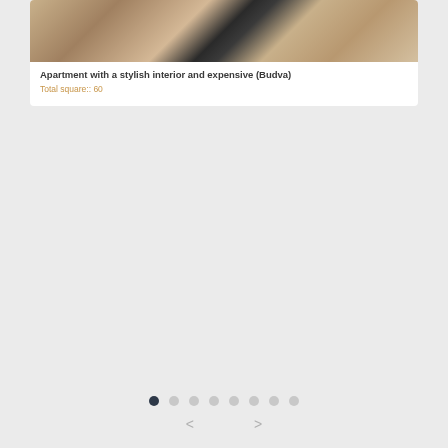[Figure (photo): Photo of apartment interior showing cushioned sofas/chairs with beige fabric and dark leather armrests arranged around a coffee table]
Apartment with a stylish interior and expensive (Budva)
Total square:: 60